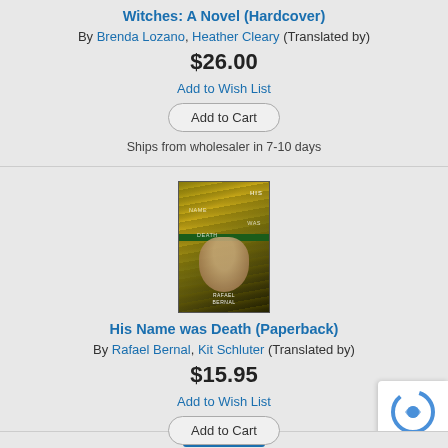Witches: A Novel (Hardcover)
By Brenda Lozano, Heather Cleary (Translated by)
$26.00
Add to Wish List
Add to Cart
Ships from wholesaler in 7-10 days
[Figure (photo): Book cover for 'His Name was Death' with forest/nature imagery and hands, by Rafael Bernal]
His Name was Death (Paperback)
By Rafael Bernal, Kit Schluter (Translated by)
$15.95
Add to Wish List
Add to Cart
Ships from wholesaler in 7-10 days